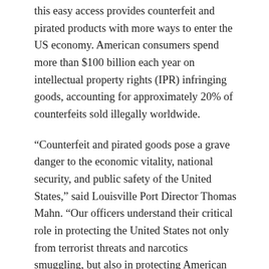this easy access provides counterfeit and pirated products with more ways to enter the US economy. American consumers spend more than $100 billion each year on intellectual property rights (IPR) infringing goods, accounting for approximately 20% of counterfeits sold illegally worldwide.
“Counterfeit and pirated goods pose a grave danger to the economic vitality, national security, and public safety of the United States,” said Louisville Port Director Thomas Mahn. “Our officers understand their critical role in protecting the United States not only from terrorist threats and narcotics smuggling, but also in protecting American consumers and businesses from counterfeit products that harm our economy.”
CBP routinely conducts inspection operations on arriving and departing international flights and intercepts narcotics, weapons, currency, prohibited agricultural products, counterfeit goods, and other illicit items at all 328 checkpoints. international entry to our